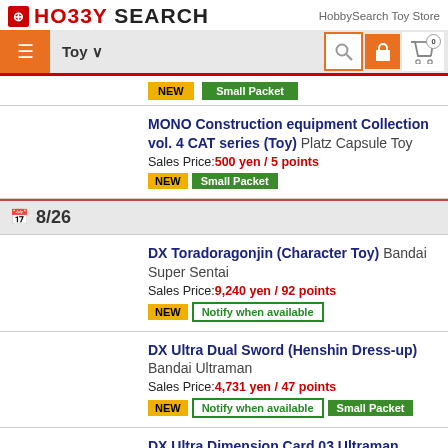HO33Y SEARCH — HobbySearch Toy Store
[Figure (screenshot): Navigation bar with hamburger menu, Toy dropdown, search icon, lock icon, and cart icon]
[Figure (other): Partial product buttons: yellow NEW button and green Small Packet button]
MONO Construction equipment Collection vol. 4 CAT series (Toy) Platz Capsule Toy
Sales Price: 500 yen / 5 points
NEW Small Packet
8/26
DX Toradoragonjin (Character Toy) Bandai Super Sentai
Sales Price: 9,240 yen / 92 points
NEW Notify when available
DX Ultra Dual Sword (Henshin Dress-up) Bandai Ultraman
Sales Price: 4,731 yen / 47 points
NEW Notify when available Small Packet
DX Ultra Dimension Card 03 Ultraman Trigger Set (Henshin Dress-up) Bandai Ultraman